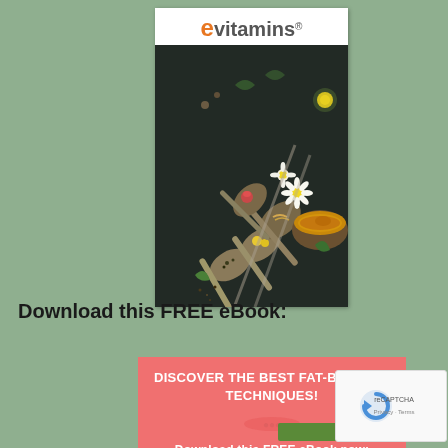[Figure (logo): eVitamins logo with orange 'e' and gray 'vitamins' text with registered trademark symbol]
[Figure (photo): Overhead photo of herbal tea ingredients: spoons with various herbs and flowers, including chamomile, on a dark background with a bowl of tea]
Download this FREE eBook:
DISCOVER THE BEST FAT-BURNING TECHNIQUES!

Download this FREE eBook now:
[Figure (other): reCAPTCHA widget showing the reCAPTCHA logo with Privacy and Terms links]